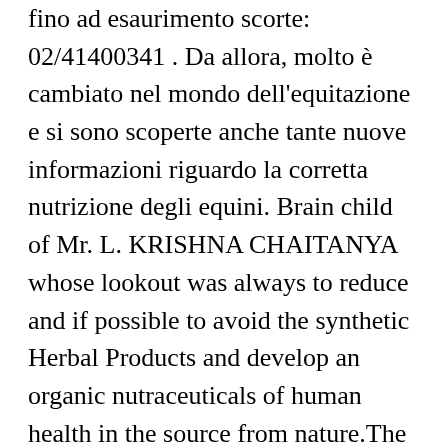fino ad esaurimento scorte: 02/41400341 . Da allora, molto è cambiato nel mondo dell'equitazione e si sono scoperte anche tante nuove informazioni riguardo la corretta nutrizione degli equini. Brain child of Mr. L. KRISHNA CHAITANYA whose lookout was always to reduce and if possible to avoid the synthetic Herbal Products and develop an organic nutraceuticals of human health in the source from nature.The continuous research has lead to the development of several Herbal products ... Lozione cuoio capelluto, 250 ml Lozione tonificante per cuoio capelluto Prezzo: 7.89 € ... Due prodotti di SPA Collection con uno sconto del 20% Fai un acquisto del valore di 120 € e ricevi un regalo aziendale! AS PURE